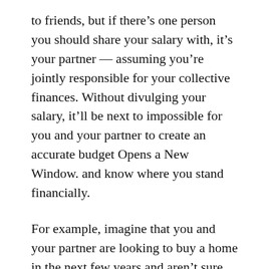to friends, but if there's one person you should share your salary with, it's your partner — assuming you're jointly responsible for your collective finances. Without divulging your salary, it'll be next to impossible for you and your partner to create an accurate budget Opens a New Window. and know where you stand financially.
For example, imagine that you and your partner are looking to buy a home in the next few years and aren't sure how much of a mortgage you can afford. If you're not willing to share your salary, you won't have a reasonable starting point for that discussion. In fact, in this sort of scenario, hiding your salary